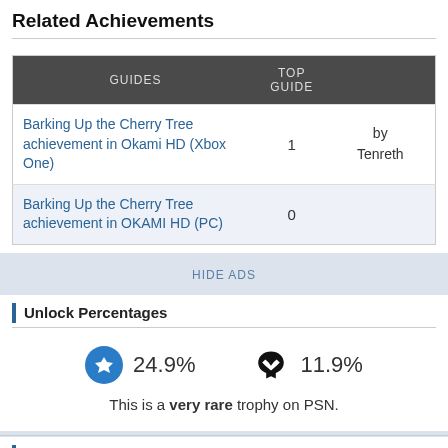Related Achievements
| GUIDES | TOP GUIDE |
| --- | --- |
| Barking Up the Cherry Tree achievement in Okami HD (Xbox One) | 1 | by Tenreth |
| Barking Up the Cherry Tree achievement in OKAMI HD (PC) | 0 |  |
HIDE ADS
Unlock Percentages
24.9%  11.9%
This is a very rare trophy on PSN.
Okami HD Trophy Sessions